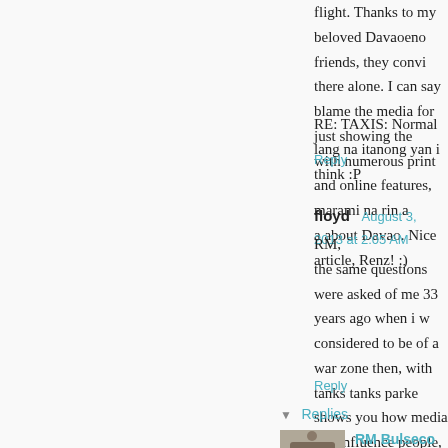flight. Thanks to my beloved Davaoeno friends, they convi there alone. I can say blame the media for just showing the with numerous print and online features, marami na rin a a about Davao. Nice article, Renz! :)
RE: TAXIS: Normal lang na itanong yan i think :P
Reply
floyd  August 3, 2013 at 2:05 AM
RM,
the same questions were asked of me 33 years ago when i w considered to be of a war zone then, with tanks tanks parke shows you how media can influence people, half of the tim updated, in a lot of ways, than some of my manila based cl in ateneo high)?
Reply
▼  Replies
RM Bulseco  August 3, 2013 at 10:31 AM
Alex is my uncle. :) Thanks for reading!